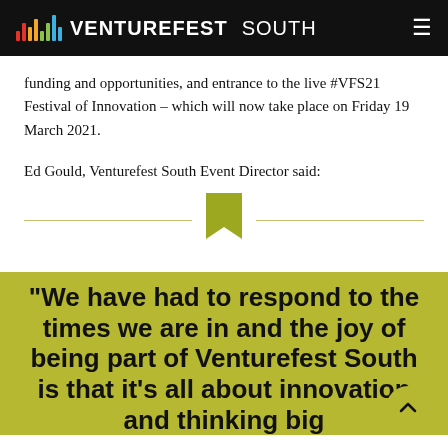VENTUREFEST SOUTH
funding and opportunities, and entrance to the live #VFS21 Festival of Innovation – which will now take place on Friday 19 March 2021.
Ed Gould, Venturefest South Event Director said:
[Figure (illustration): Decorative divider with a gold/olive bookmark icon in the center and horizontal lines on each side]
“We have had to respond to the times we are in and the joy of being part of Venturefest South is that it’s all about innovation and thinking big